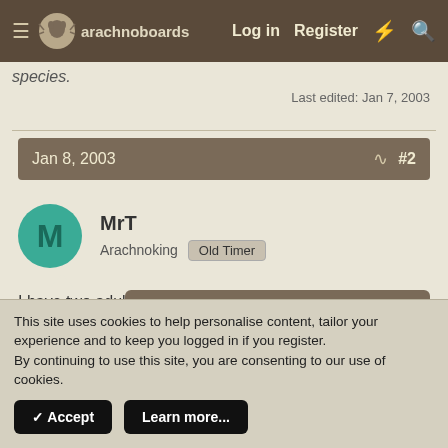arachnoboards  Log in  Register
species.
Last edited: Jan 7, 2003
Jan 8, 2003  #2
MrT
Arachnoking  Old Timer
I have two adult females.
They both have [obscured by popup]
One moves its s[ubstrate] [obscured] its hide.
The other spends half its time in the hide and the rest on top of
Hello there, why not take a few seconds to register on our forums and become part of the community? Just click here.
This site uses cookies to help personalise content, tailor your experience and to keep you logged in if you register.
By continuing to use this site, you are consenting to our use of cookies.
✓ Accept  Learn more...